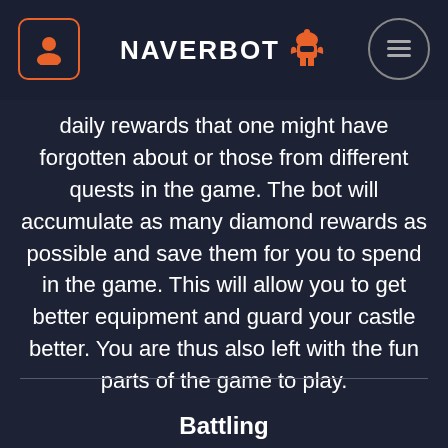NAVERBOT
daily rewards that one might have forgotten about or those from different quests in the game. The bot will accumulate as many diamond rewards as possible and save them for you to spend in the game. This will allow you to get better equipment and guard your castle better. You are thus also left with the fun parts of the game to play.
Battling